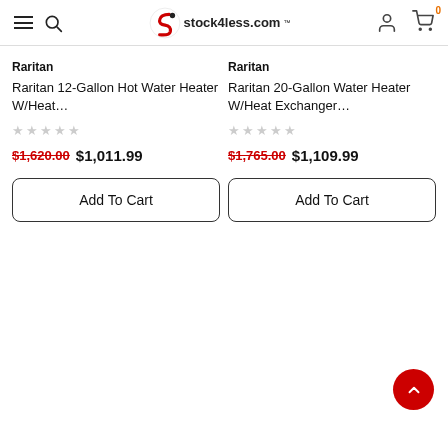stock4less.com
Raritan
Raritan 12-Gallon Hot Water Heater W/Heat...
★★★★★
$1,620.00  $1,011.99
Add To Cart
Raritan
Raritan 20-Gallon Water Heater W/Heat Exchanger...
★★★★★
$1,765.00  $1,109.99
Add To Cart